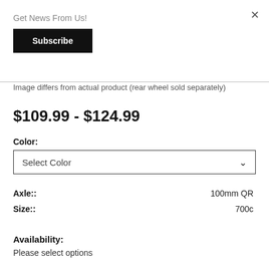×
Get News From Us!
Subscribe
Image differs from actual product (rear wheel sold separately)
$109.99 - $124.99
Color:
Select Color
| Attribute | Value |
| --- | --- |
| Axle:: | 100mm QR |
| Size:: | 700c |
Availability:
Please select options